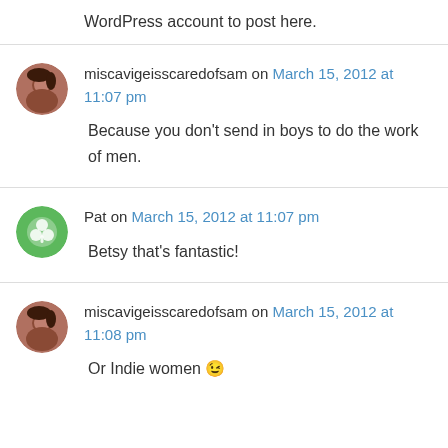WordPress account to post here.
miscavigeisscaredofsam on March 15, 2012 at 11:07 pm
Because you don't send in boys to do the work of men.
Pat on March 15, 2012 at 11:07 pm
Betsy that's fantastic!
miscavigeisscaredofsam on March 15, 2012 at 11:08 pm
Or Indie women 😉